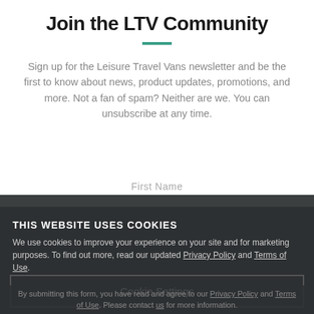Join the LTV Community
Sign up for the Leisure Travel Vans newsletter and be the first to know about news, product updates, promotions, and more. Not a fan of spam? Neither are we. You can unsubscribe at any time.
First Name
THIS WEBSITE USES COOKIES
We use cookies to improve your experience on your site and for marketing purposes. To find out more, read our updated Privacy Policy and Terms of Use.
Cookie Settings
Accept All Cookies
By submitting this form, you have read and agree to our Privacy Policy and Terms of Use. Please contact us for more information.